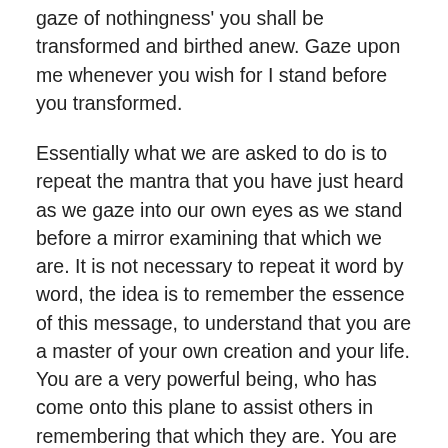gaze of nothingness' you shall be transformed and birthed anew. Gaze upon me whenever you wish for I stand before you transformed.
Essentially what we are asked to do is to repeat the mantra that you have just heard as we gaze into our own eyes as we stand before a mirror examining that which we are. It is not necessary to repeat it word by word, the idea is to remember the essence of this message, to understand that you are a master of your own creation and your life. You are a very powerful being, who has come onto this plane to assist others in remembering that which they are. You are asked to remember this, and to work with yourself, in clearing away the underlying waves and emotions that may be hindering your progress, that may be reflecting upon others the negativity which is within your heart. You are asked to cleanse yourself yet again.